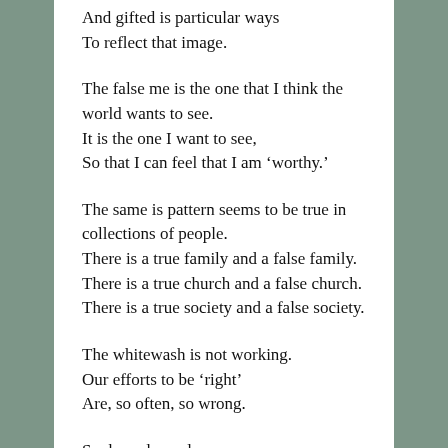And gifted is particular ways
To reflect that image.
The false me is the one that I think the world wants to see.
It is the one I want to see,
So that I can feel that I am 'worthy.'
The same is pattern seems to be true in collections of people.
There is a true family and a false family.
There is a true church and a false church.
There is a true society and a false society.
The whitewash is not working.
Our efforts to be 'right'
Are, so often, so wrong.
So, how do we learn
To step aside
From the false companion?